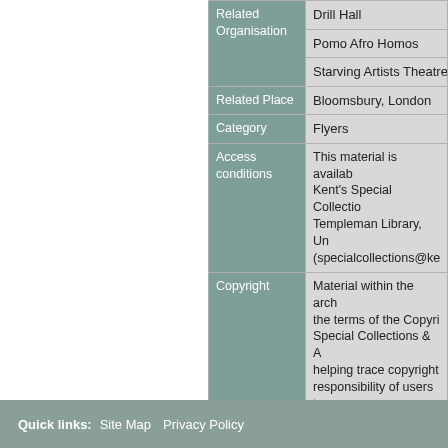| Field | Value |
| --- | --- |
| Related Organisation | Drill Hall |
|  | Pomo Afro Homos |
|  | Starving Artists Theatre |
| Related Place | Bloomsbury, London |
| Category | Flyers |
| Access conditions | This material is available at Kent's Special Collections Templeman Library, Un... (specialcollections@ke... |
| Copyright | Material within the arch... the terms of the Copyri... Special Collections & A... helping trace copyright... responsibility of users t... holder for reproduction... research or private stu... |
| Level | Item |
Quick links: Site Map  Privacy Policy